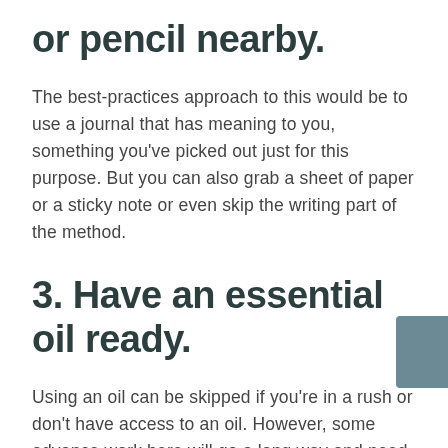or pencil nearby.
The best-practices approach to this would be to use a journal that has meaning to you, something you've picked out just for this purpose. But you can also grab a sheet of paper or a sticky note or even skip the writing part of the method.
3. Have an essential oil ready.
Using an oil can be skipped if you're in a rush or don't have access to an oil. However, some advance work here will go a long way and need only be done once. At the end of this article are a